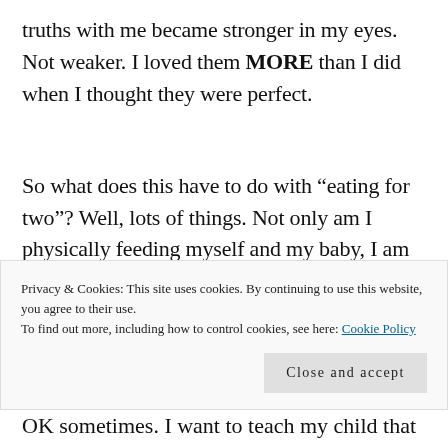truths with me became stronger in my eyes. Not weaker. I loved them MORE than I did when I thought they were perfect.
So what does this have to do with “eating for two”? Well, lots of things. Not only am I physically feeding myself and my baby, I am mentally
Privacy & Cookies: This site uses cookies. By continuing to use this website, you agree to their use.
To find out more, including how to control cookies, see here: Cookie Policy
Close and accept
OK sometimes. I want to teach my child that love